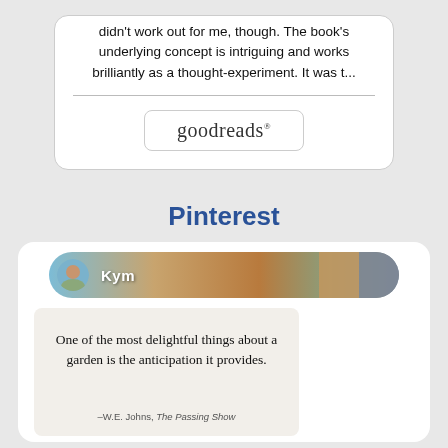didn't work out for me, though. The book's underlying concept is intriguing and works brilliantly as a thought-experiment. It was t...
[Figure (logo): Goodreads logo inside a rounded rectangle button]
Pinterest
[Figure (screenshot): Pinterest card showing a profile bar with name 'Kym' and a blurred nature background, and a pin card with a garden quote: 'One of the most delightful things about a garden is the anticipation it provides.' attributed to -W.E. Johns, The Passing Show. Left and right navigation arrows visible.]